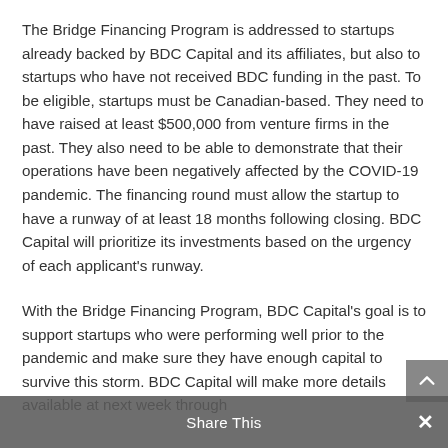The Bridge Financing Program is addressed to startups already backed by BDC Capital and its affiliates, but also to startups who have not received BDC funding in the past. To be eligible, startups must be Canadian-based. They need to have raised at least $500,000 from venture firms in the past. They also need to be able to demonstrate that their operations have been negatively affected by the COVID-19 pandemic. The financing round must allow the startup to have a runway of at least 18 months following closing. BDC Capital will prioritize its investments based on the urgency of each applicant's runway.
With the Bridge Financing Program, BDC Capital's goal is to support startups who were performing well prior to the pandemic and make sure they have enough capital to survive this storm. BDC Capital will make more details available at next week through